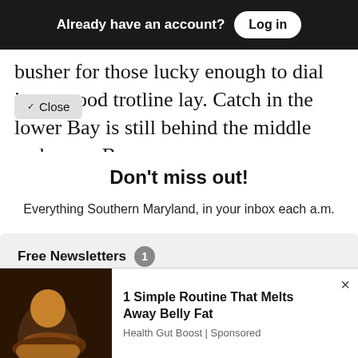Already have an account? Log in
busher for those lucky enough to dial into a good trotline lay. Catch in the lower Bay is still behind the middle and upper Bay
✓ Close
Don't miss out!
Everything Southern Maryland, in your inbox each a.m.
Free Newsletters 1
Daily Digest
A roundup of the latest news
1 Simple Routine That Melts Away Belly Fat
Health Gut Boost | Sponsored